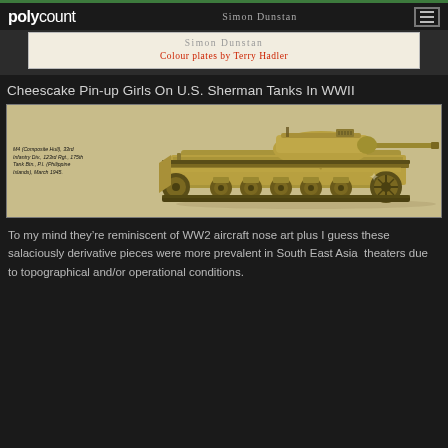polycount
[Figure (illustration): Book cover fragment showing 'Simon Dunstan' as author and 'Colour plates by Terry Hadler' in red text on a cream/beige background]
Cheescake Pin-up Girls On U.S. Sherman Tanks In WWII
[Figure (illustration): Side profile illustration of M4 Sherman tank (Composite Hull), 33rd Infantry Div., 123rd Rgt., 175th Tank Btn., P.I. (Philippine Islands), March 1945. Tank is painted in olive drab/sand color with 'TROOPER' written on the hull side and pin-up girl nose art.]
To my mind they're reminiscent of WW2 aircraft nose art plus I guess these salaciously derivative pieces were more prevalent in South East Asia  theaters due to topographical and/or operational conditions.